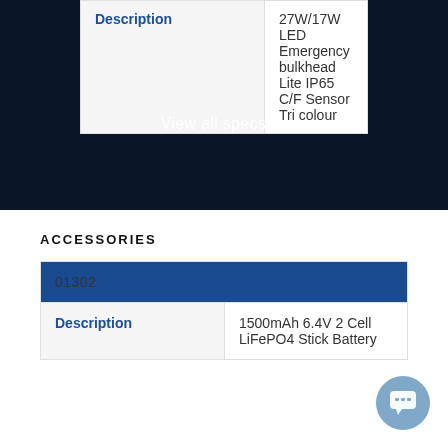| Description |  |
| --- | --- |
| Description | 27W/17W LED Emergency bulkhead Lite IP65 C/F Sensor Tri colour |
View all specs ˅
ACCESSORIES
| 01302 |
| --- |
| Description | 1500mAh 6.4V 2 Cell LiFePO4 Stick Battery |